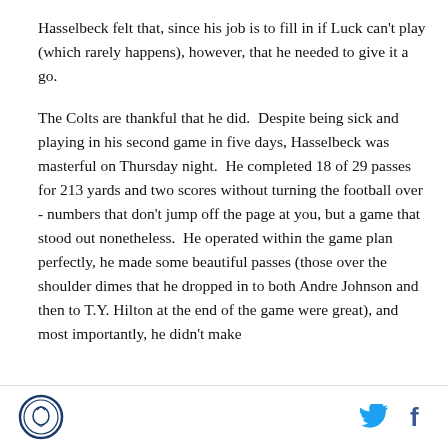Hasselbeck felt that, since his job is to fill in if Luck can't play (which rarely happens), however, that he needed to give it a go.

The Colts are thankful that he did.  Despite being sick and playing in his second game in five days, Hasselbeck was masterful on Thursday night.  He completed 18 of 29 passes for 213 yards and two scores without turning the football over - numbers that don't jump off the page at you, but a game that stood out nonetheless.  He operated within the game plan perfectly, he made some beautiful passes (those over the shoulder dimes that he dropped in to both Andre Johnson and then to T.Y. Hilton at the end of the game were great), and most importantly, he didn't make
[logo] [twitter] [facebook]